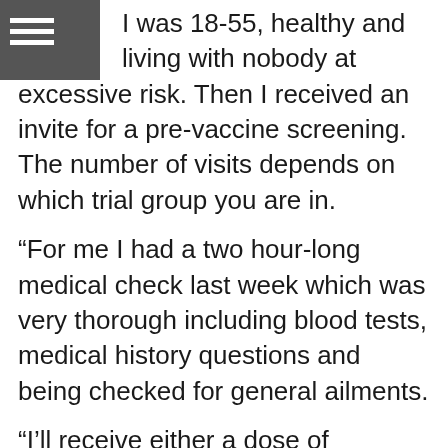I was 18-55, healthy and living with nobody at excessive risk. Then I received an invite for a pre-vaccine screening. The number of visits depends on which trial group you are in.
“For me I had a two hour-long medical check last week which was very thorough including blood tests, medical history questions and being checked for general ailments.
“I’ll receive either a dose of ChAdOx1 nCov-19 or MenACWY, which is the control in this trial. Beyond that, I’ll have a blood test after 28 days, which I think is how the Oxford professors leading the study are able to say they could know by June if it’s effective.
“Then another test after 6 months, all the while